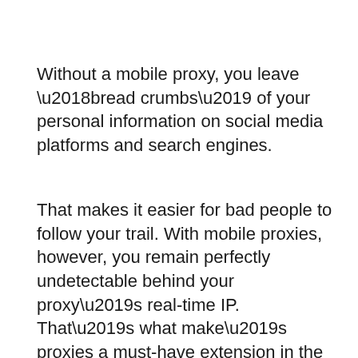Without a mobile proxy, you leave ‘bread crumbs’ of your personal information on social media platforms and search engines.
That makes it easier for bad people to follow your trail. With mobile proxies, however, you remain perfectly undetectable behind your proxy’s real-time IP. That’s what make’s proxies a must-have extension in the digital age!